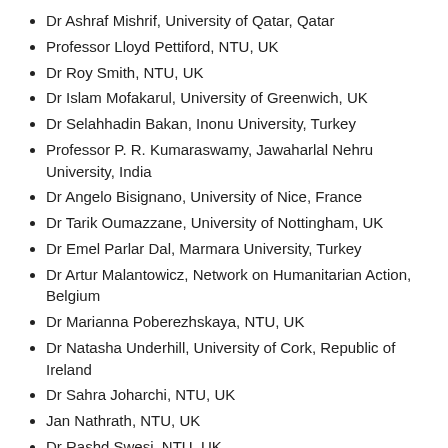Dr Ashraf Mishrif, University of Qatar, Qatar
Professor Lloyd Pettiford, NTU, UK
Dr Roy Smith, NTU, UK
Dr Islam Mofakarul, University of Greenwich, UK
Dr Selahhadin Bakan, Inonu University, Turkey
Professor P. R. Kumaraswamy, Jawaharlal Nehru University, India
Dr Angelo Bisignano, University of Nice, France
Dr Tarik Oumazzane, University of Nottingham, UK
Dr Emel Parlar Dal, Marmara University, Turkey
Dr Artur Malantowicz, Network on Humanitarian Action, Belgium
Dr Marianna Poberezhskaya, NTU, UK
Dr Natasha Underhill, University of Cork, Republic of Ireland
Dr Sahra Joharchi, NTU, UK
Jan Nathrath, NTU, UK
Dr Rashd Swesi, NTU, UK